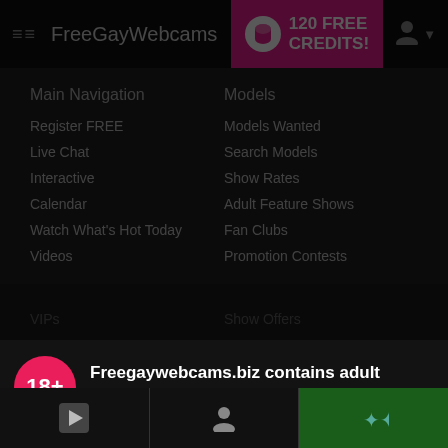FreeGayWebcams — 120 FREE CREDITS!
Main Navigation
Register FREE
Live Chat
Interactive
Calendar
Watch What's Hot Today
Videos
Models
Models Wanted
Search Models
Show Rates
Adult Feature Shows
Fan Clubs
Promotion Contests
Freegaywebcams.biz contains adult content
By using the site, you acknowledge you have read our Privacy Policy, and agree to our Terms and Conditions.
We use cookies to optimize your experience, analyze traffic, and deliver more personalized service. To learn more, please see our Privacy Policy.
I AGREE
Bottom navigation bar with video, profile, and special icons